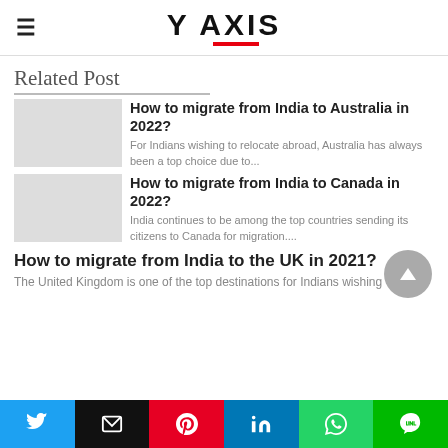Y AXIS
Related Post
How to migrate from India to Australia in 2022?
For Indians wishing to relocate abroad, Australia has always been a top choice due to...
How to migrate from India to Canada in 2022?
India continues to be among the top countries sending its citizens to Canada for migration....
How to migrate from India to the UK in 2021?
The United Kingdom is one of the top destinations for Indians wishing